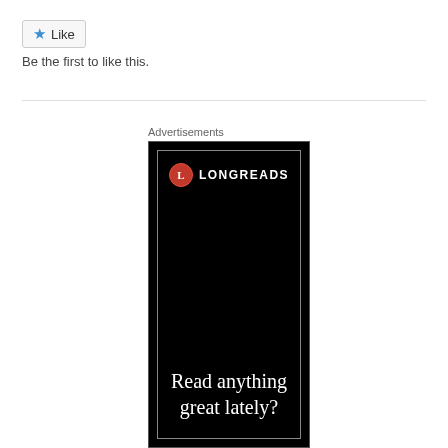[Figure (screenshot): Like button UI element with blue star icon]
Be the first to like this.
Advertisements
[Figure (illustration): Longreads advertisement banner with black background, red circle logo with 'L', text reading 'Read anything great lately?']